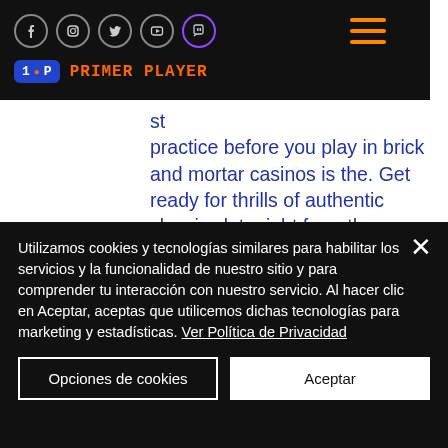Social media icons: Facebook, Instagram, Twitter, YouTube, Twitch
[Figure (logo): Primer Player logo with blue badge and orange brand name]
practice before you play in brick and mortar casinos is the. Get ready for thrills of authentic classic slots right from the casino floors in downtown las vegas! spin the reels now with up to 100000 free coins and get
Often reviews about them on various sites and forums are nothing more than falsification, practice play casino slots
Utilizamos cookies y tecnologías similares para habilitar los servicios y la funcionalidad de nuestro sitio y para comprender tu interacción con nuestro servicio. Al hacer clic en Aceptar, aceptas que utilicemos dichas tecnologías para marketing y estadísticas. Ver Política de Privacidad
Opciones de cookies
Aceptar